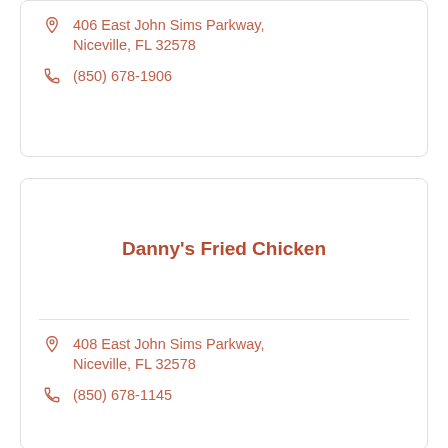406 East John Sims Parkway, Niceville, FL 32578
(850) 678-1906
Danny's Fried Chicken
408 East John Sims Parkway, Niceville, FL 32578
(850) 678-1145